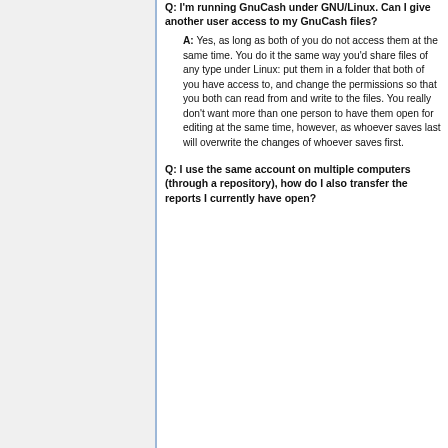Q: I'm running GnuCash under GNU/Linux. Can I give another user access to my GnuCash files?
A: Yes, as long as both of you do not access them at the same time. You do it the same way you'd share files of any type under Linux: put them in a folder that both of you have access to, and change the permissions so that you both can read from and write to the files. You really don't want more than one person to have them open for editing at the same time, however, as whoever saves last will overwrite the changes of whoever saves first.
Q: I use the same account on multiple computers (through a repository), how do I also transfer the reports I currently have open?